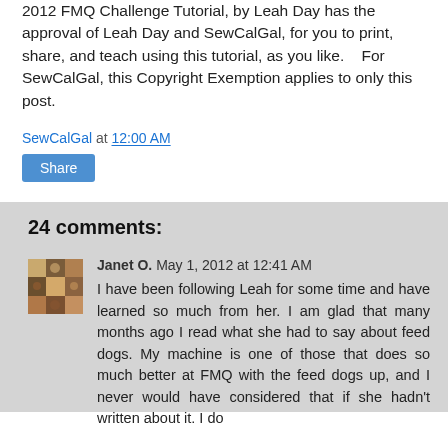2012 FMQ Challenge Tutorial, by Leah Day has the approval of Leah Day and SewCalGal, for you to print, share, and teach using this tutorial, as you like.    For SewCalGal, this Copyright Exemption applies to only this post.
SewCalGal at 12:00 AM
Share
24 comments:
Janet O. May 1, 2012 at 12:41 AM
I have been following Leah for some time and have learned so much from her. I am glad that many months ago I read what she had to say about feed dogs. My machine is one of those that does so much better at FMQ with the feed dogs up, and I never would have considered that if she hadn't written about it. I do